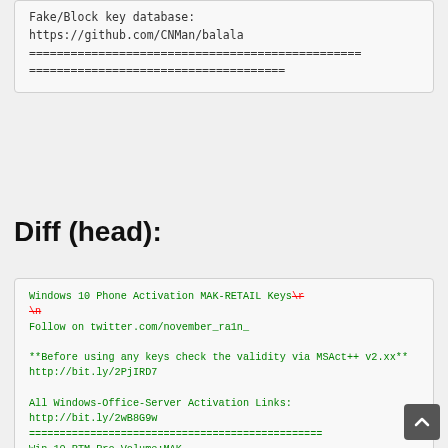Fake/Block key database:
https://github.com/CNMan/balala
================================================
=====================================
Diff (head):
Windows 10 Phone Activation MAK-RETAIL Keys\r\n
Follow on twitter.com/november_ra1n_

**Before using any keys check the validity via MSAct++ v2.xx**
http://bit.ly/2PjIRD7

All Windows-Office-Server Activation Links:
http://bit.ly/2wB8G9w
================================================
Win 10 RTM Pro Volume:MAK
  #Windows 10 MAK Keys capable to activate both Volume License & Retail Edition.#\r\n==========